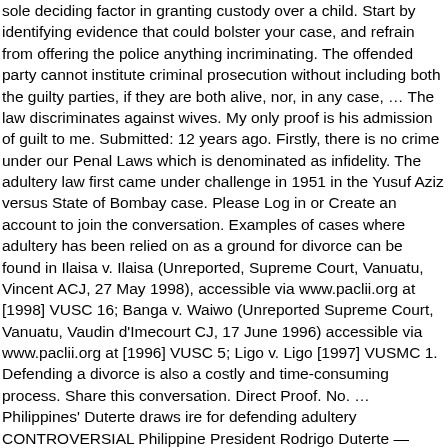sole deciding factor in granting custody over a child. Start by identifying evidence that could bolster your case, and refrain from offering the police anything incriminating. The offended party cannot institute criminal prosecution without including both the guilty parties, if they are both alive, nor, in any case, … The law discriminates against wives. My only proof is his admission of guilt to me. Submitted: 12 years ago. Firstly, there is no crime under our Penal Laws which is denominated as infidelity. The adultery law first came under challenge in 1951 in the Yusuf Aziz versus State of Bombay case. Please Log in or Create an account to join the conversation. Examples of cases where adultery has been relied on as a ground for divorce can be found in Ilaisa v. Ilaisa (Unreported, Supreme Court, Vanuatu, Vincent ACJ, 27 May 1998), accessible via www.paclii.org at [1998] VUSC 16; Banga v. Waiwo (Unreported Supreme Court, Vanuatu, Vaudin d'Imecourt CJ, 17 June 1996) accessible via www.paclii.org at [1996] VUSC 5; Ligo v. Ligo [1997] VUSMC 1. Defending a divorce is also a costly and time-consuming process. Share this conversation. Direct Proof. No. … Philippines' Duterte draws ire for defending adultery CONTROVERSIAL Philippine President Rodrigo Duterte — dubbed The Punisher — has defended adultery because you only have a ... Concubinage, adultery, you'll have to convince a judge that a affair. You file for